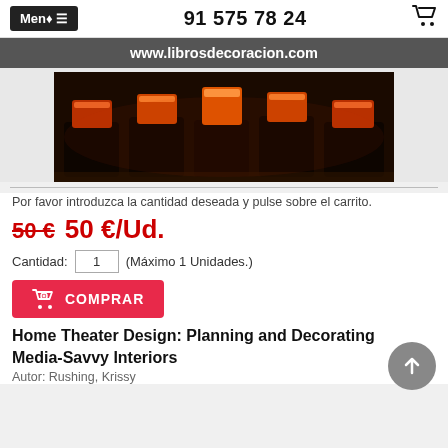Menú ≡   91 575 78 24   🛒
www.librosdecoracion.com
[Figure (photo): Photo of home theater seating with orange/red ambient lighting]
Por favor introduzca la cantidad deseada y pulse sobre el carrito.
50 €   50 €/Ud.
Cantidad: 1 (Máximo 1 Unidades.)
COMPRAR
Home Theater Design: Planning and Decorating Media-Savvy Interiors
Autor: Rushing, Krissy